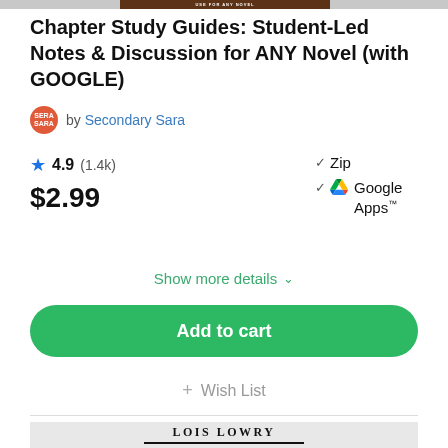[Figure (photo): Top cropped image of a novel cover with text 'USE FOR ANY NOVEL' and brown/dark tones]
Chapter Study Guides: Student-Led Notes & Discussion for ANY Novel (with GOOGLE)
by Secondary Sara
4.9 (1.4k)
$2.99
✓ Zip
✓ Google Apps™
Show more details ∨
Add to cart
+ Wish List
[Figure (photo): Bottom of page shows a book cover with 'LOIS LOWRY' text and decorative underline, partially cropped]